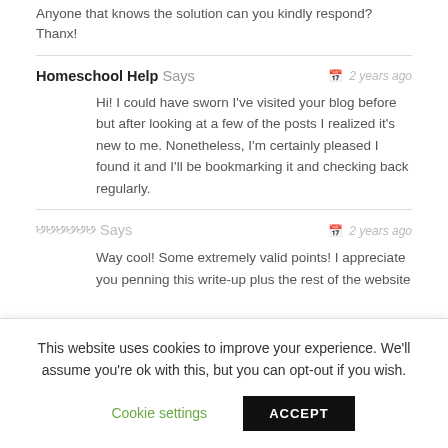Anyone that knows the solution can you kindly respond? Thanx!
Homeschool Help Says — 2 years ago
Hi! I could have sworn I've visited your blog before but after looking at a few of the posts I realized it's new to me. Nonetheless, I'm certainly pleased I found it and I'll be bookmarking it and checking back regularly.
ꀕꀕꀕꀕꀕꀕ Says — 2 years ago
Way cool! Some extremely valid points! I appreciate you penning this write-up plus the rest of the website
This website uses cookies to improve your experience. We'll assume you're ok with this, but you can opt-out if you wish.
Cookie settings | ACCEPT